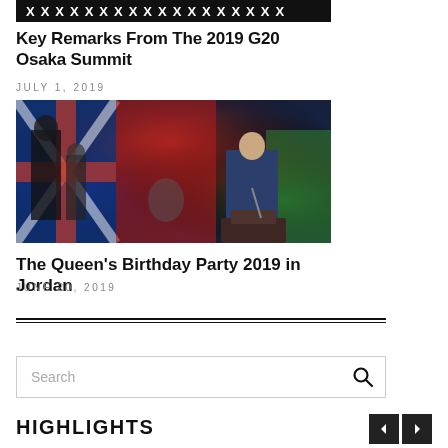[Figure (photo): Partial top of a photo showing text/banner, cropped at top edge]
Key Remarks From The 2019 G20 Osaka Summit
JULY 1, 2019
[Figure (photo): Photo of a man in a blue suit speaking at a podium with flags in the background at The Queen's Birthday Party 2019 in Jordan]
The Queen's Birthday Party 2019 in Jordan
JUNE 20, 2019
Search
HIGHLIGHTS